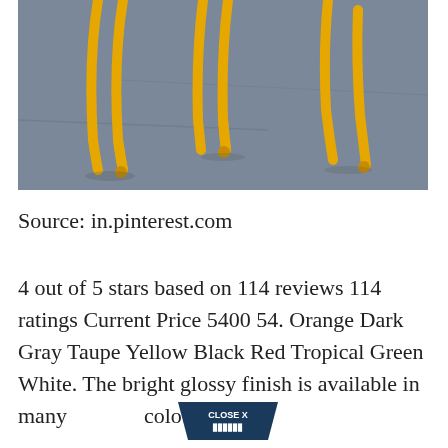[Figure (photo): Yellow hairpin metal legs furniture/stool viewed from above on a grey concrete floor background]
Source: in.pinterest.com
4 out of 5 stars based on 114 reviews 114 ratings Current Price 5400 54. Orange Dark Gray Taupe Yellow Black Red Tropical Green White. The bright glossy finish is available in many colours